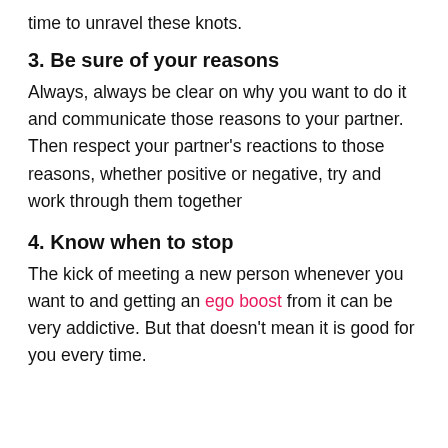time to unravel these knots.
3. Be sure of your reasons
Always, always be clear on why you want to do it and communicate those reasons to your partner. Then respect your partner’s reactions to those reasons, whether positive or negative, try and work through them together
4. Know when to stop
The kick of meeting a new person whenever you want to and getting an ego boost from it can be very addictive. But that doesn’t mean it is good for you every time.